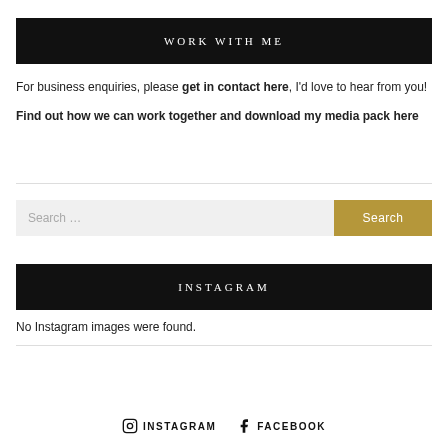WORK WITH ME
For business enquiries, please get in contact here, I'd love to hear from you!
Find out how we can work together and download my media pack here
[Figure (screenshot): Search input field with placeholder 'Search ...' and a gold 'Search' button]
INSTAGRAM
No Instagram images were found.
INSTAGRAM   FACEBOOK